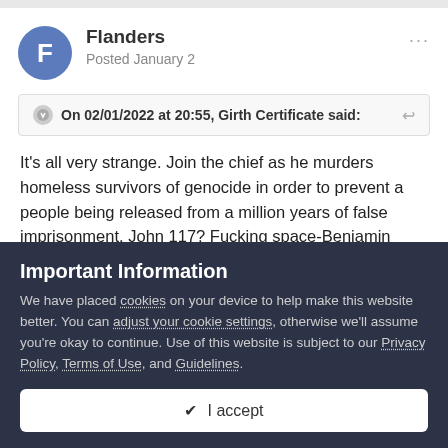Flanders
Posted January 2
On 02/01/2022 at 20:55, Girth Certificate said:
It's all very strange. Join the chief as he murders homeless survivors of genocide in order to prevent a people being released from a million years of false imprisonment. John 117? Fucking space-Benjamin Netanyahu more like.
Important Information
We have placed cookies on your device to help make this website better. You can adjust your cookie settings, otherwise we'll assume you're okay to continue. Use of this website is subject to our Privacy Policy, Terms of Use, and Guidelines.
✔ I accept